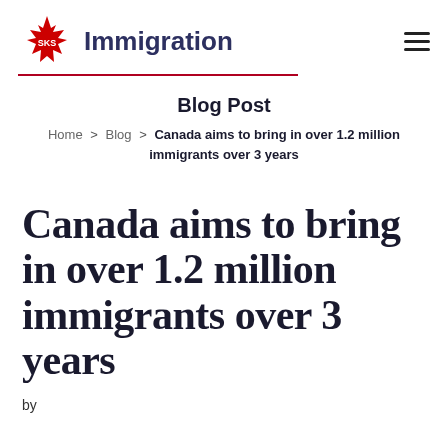SKS Immigration
Blog Post
Home > Blog > Canada aims to bring in over 1.2 million immigrants over 3 years
Canada aims to bring in over 1.2 million immigrants over 3 years
by